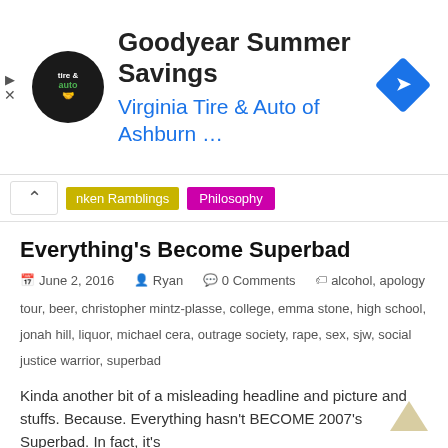[Figure (screenshot): Goodyear Summer Savings advertisement banner with Virginia Tire & Auto of Ashburn logo, circular tire & auto logo, and blue arrow diamond icon]
nken Ramblings | Philosophy
Everything's Become Superbad
June 2, 2016  Ryan  0 Comments  alcohol, apology tour, beer, christopher mintz-plasse, college, emma stone, high school, jonah hill, liquor, michael cera, outrage society, rape, sex, sjw, social justice warrior, superbad
Kinda another bit of a misleading headline and picture and stuffs. Because. Everything hasn’t BECOME 2007’s Superbad. In fact, it’s
Read more